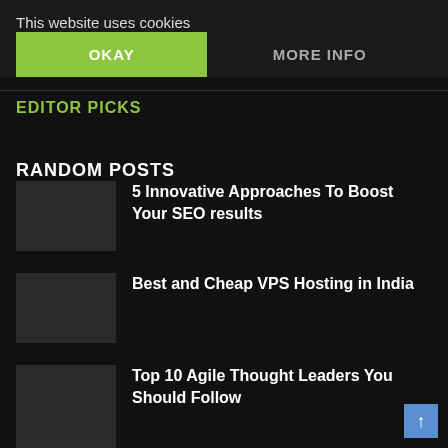This website uses cookies
OKAY
MORE INFO
EDITOR PICKS
RANDOM POSTS
5 Innovative Approaches To Boost Your SEO results
Best and Cheap VPS Hosting in India
Top 10 Agile Thought Leaders You Should Follow